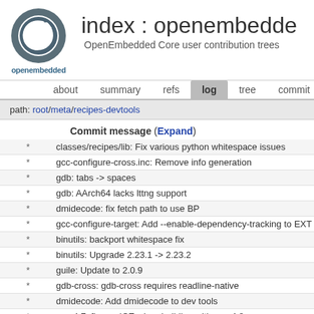index : openembedded
OpenEmbedded Core user contribution trees
about  summary  refs  log  tree  commit  diff  stat
path: root/meta/recipes-devtools
Commit message (Expand)
* classes/recipes/lib: Fix various python whitespace issues
* gcc-configure-cross.inc: Remove info generation
* gdb: tabs -> spaces
* gdb: AArch64 lacks lttng support
* dmidecode: fix fetch path to use BP
* gcc-configure-target: Add --enable-dependency-tracking to EXT
* binutils: backport whitespace fix
* binutils: Upgrade 2.23.1 -> 2.23.2
* guile: Update to 2.0.9
* gdb-cross: gdb-cross requires readline-native
* dmidecode: Add dmidecode to dev tools
* gcc-4.7: fix gcc ICE when building with gcc-4.8
* gcc-runtime: Avoid error when trying to remove nonexistent dire